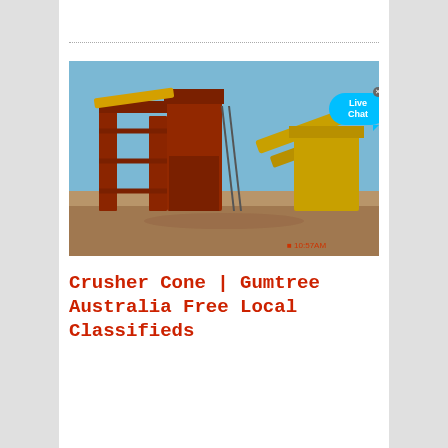[Figure (photo): Photo of a large industrial mining crusher cone plant with red metal framework, yellow conveyor belts, and machinery set against a clear blue sky on a sandy terrain. A 'Live Chat' speech bubble overlay appears in the top-right corner. Timestamp '10:57AM' visible at bottom right of image.]
Crusher Cone | Gumtree Australia Free Local Classifieds